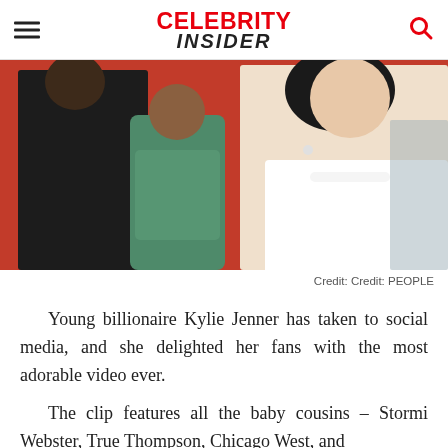CELEBRITY INSIDER
[Figure (photo): A man in a dark suit holds a young toddler girl in a floral outfit, standing next to a woman with dark hair wearing a white outfit, against a red background.]
Credit: Credit: PEOPLE
Young billionaire Kylie Jenner has taken to social media, and she delighted her fans with the most adorable video ever.
The clip features all the baby cousins – Stormi Webster, True Thompson, Chicago West, and